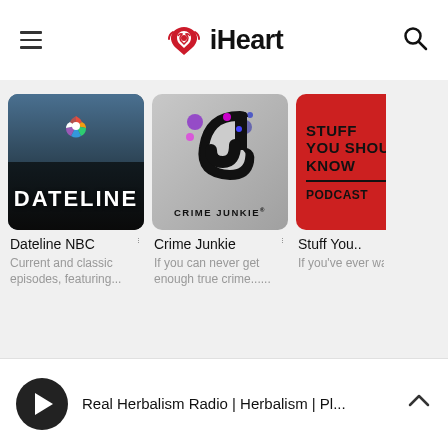[Figure (screenshot): iHeart app header with hamburger menu on left, iHeart logo in center (heart icon with radio waves + 'iHeart' text), search icon on right]
[Figure (screenshot): Dateline NBC podcast thumbnail - dark cityscape background with NBC peacock logo and DATELINE text]
Dateline NBC
Current and classic episodes, featuring...
[Figure (screenshot): Crime Junkie podcast thumbnail - grey background with stylized CJ logo in purple/black and CRIME JUNKIE text]
Crime Junkie
If you can never get enough true crime......
[Figure (screenshot): Stuff You Should Know podcast thumbnail - red background with bold black text STUFF YOU SHOULD KNOW PODCAST]
Stuff You...
If you've ever want know about
Real Herbalism Radio | Herbalism | Pl...